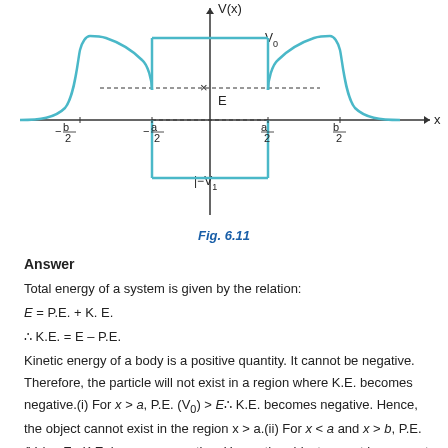[Figure (continuous-plot): Potential energy V(x) vs x graph showing a well (negative V1) in the centre region between -a/2 and a/2, positive peaks (V0) between -a/2 to -b/2 and a/2 to b/2, Gaussian-shaped humps outside, and a horizontal dashed line at energy E.]
Fig. 6.11
Answer
Total energy of a system is given by the relation:
Kinetic energy of a body is a positive quantity. It cannot be negative. Therefore, the particle will not exist in a region where K.E. becomes negative.(i) For x > a, P.E. (V0) > E∴ K.E. becomes negative. Hence, the object cannot exist in the region x > a.(ii) For x < a and x > b, P.E. (V0) > E∴ K.E. becomes negative. Hence the object cannot be present in the region x < a and x > b.